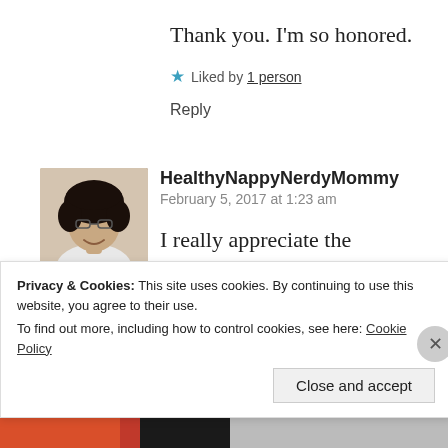Thank you. I'm so honored.
★ Liked by 1 person
Reply
[Figure (photo): Profile photo of a smiling woman with natural hair and glasses]
HealthyNappyNerdyMommy
February 5, 2017 at 1:23 am
I really appreciate the recognition. I've started to post awards every two weeks. I can't wait to do this one and spread the love.
Privacy & Cookies: This site uses cookies. By continuing to use this website, you agree to their use.
To find out more, including how to control cookies, see here: Cookie Policy
Close and accept